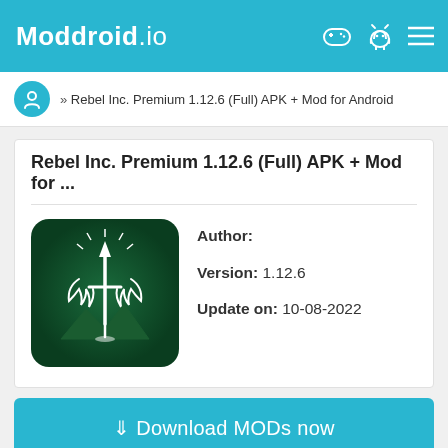Moddroid.io
» Rebel Inc. Premium 1.12.6 (Full) APK + Mod for Android
Rebel Inc. Premium 1.12.6 (Full) APK + Mod for ...
[Figure (illustration): Rebel Inc. app icon — dark green background with white sword and laurel wreath emblem]
Author:
Version: 1.12.6
Update on: 10-08-2022
↓ Download MODs now